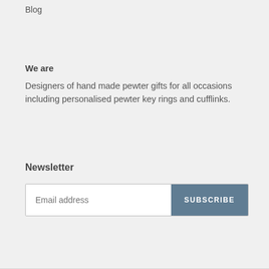Blog
We are
Designers of hand made pewter gifts for all occasions including personalised pewter key rings and cufflinks.
Newsletter